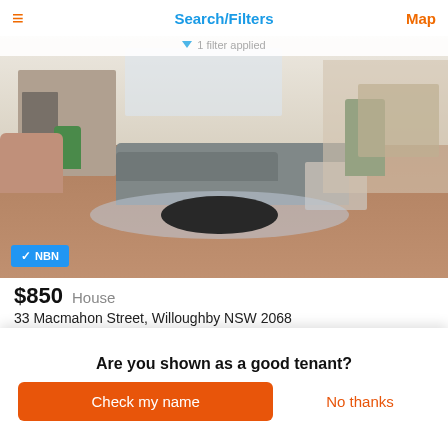Search/Filters
1 filter applied
[Figure (photo): Interior photo of a modern living room with grey sectional sofa, round coffee table, fireplace, plants, and hardwood floors. NBN badge in bottom-left corner.]
$850  House
33 Macmahon Street, Willoughby NSW 2068
2 bedrooms  1 bathroom  2 car spaces  Score: 90
[Figure (photo): Partial photo of another property listing with not-interested and heart action icons.]
Are you shown as a good tenant?
Check my name
No thanks